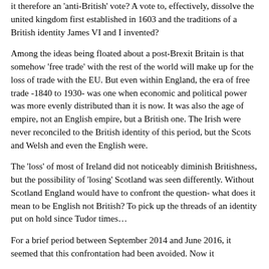it therefore an 'anti-British' vote? A vote to, effectively, dissolve the united kingdom first established in 1603 and the traditions of a British identity James VI and I invented?
Among the ideas being floated about a post-Brexit Britain is that somehow 'free trade' with the rest of the world will make up for the loss of trade with the EU. But even within England, the era of free trade -1840 to 1930- was one when economic and political power was more evenly distributed than it is now. It was also the age of empire, not an English empire, but a British one. The Irish were never reconciled to the British identity of this period, but the Scots and Welsh and even the English were.
The 'loss' of most of Ireland did not noticeably diminish Britishness, but the possibility of 'losing' Scotland was seen differently. Without Scotland England would have to confront the question- what does it mean to be English not British? To pick up the threads of an identity put on hold since Tudor times…
For a brief period between September 2014 and June 2016, it seemed that this confrontation had been avoided. Now it